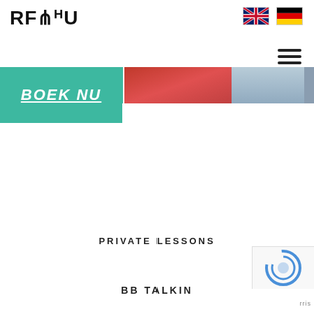[Figure (logo): RFARU logo in bold stylized uppercase font]
[Figure (illustration): UK flag and German flag icons at top right for language selection]
[Figure (illustration): Hamburger menu icon (three horizontal lines) at top right]
[Figure (photo): Hero banner image strip with teal, red, and blue-grey color sections]
BOEK NU
PRIVATE LESSONS
BB TALKIN